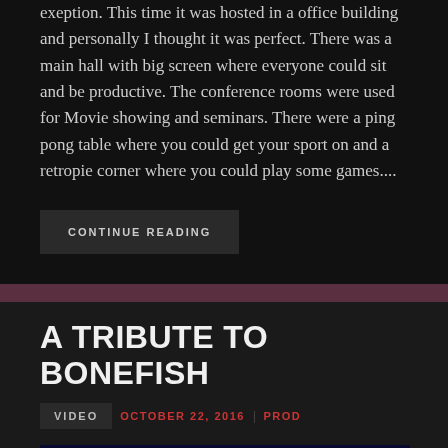exeption. This time it was hosted in a office building and personally I thought it was perfect. There was a main hall with big screen where everyone could sit and be productive. The conference rooms were used for Movie showing and seminars. There were a ping pong table where you could get your sport on and a retropie corner where you could play some games....
CONTINUE READING
A TRIBUTE TO BONEFISH
VIDEO  OCTOBER 22, 2016  PROD
[Figure (screenshot): Video thumbnail showing 'CONGRATULATIONS' text in blue at top, a circular avatar/logo on left with 'Stonefish by insane (Amiga OCS, ...' title text, three dots menu on right, and a black/white spiral tunnel pattern at bottom.]